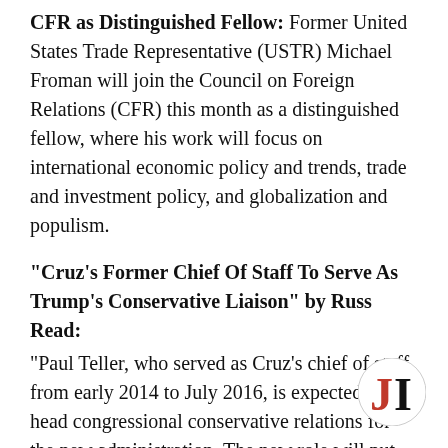CFR as Distinguished Fellow: Former United States Trade Representative (USTR) Michael Froman will join the Council on Foreign Relations (CFR) this month as a distinguished fellow, where his work will focus on international economic policy and trends, trade and investment policy, and globalization and populism.
“Cruz’s Former Chief Of Staff To Serve As Trump’s Conservative Liaison” by Russ Read:
“Paul Teller, who served as Cruz’s chief of staff from early 2014 to July 2016, is expected to head congressional conservative relations for the new administration. The new role will put Teller in charge of ensuring that conservative congressmen in the H Freedom Caucus, Republican Study Committee, Senate Steering Committee are on board with the
[Figure (logo): JI logo — red J and black I letters in a circle]